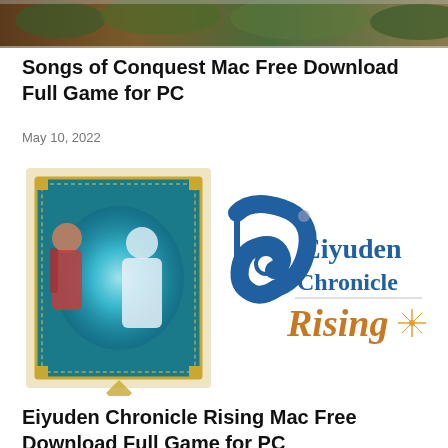[Figure (photo): Top banner image showing a game scene, partially cropped]
Songs of Conquest Mac Free Download Full Game for PC
May 10, 2022
[Figure (illustration): Eiyuden Chronicle Rising game artwork showing anime characters and the game logo with blue and orange text]
Eiyuden Chronicle Rising Mac Free Download Full Game for PC